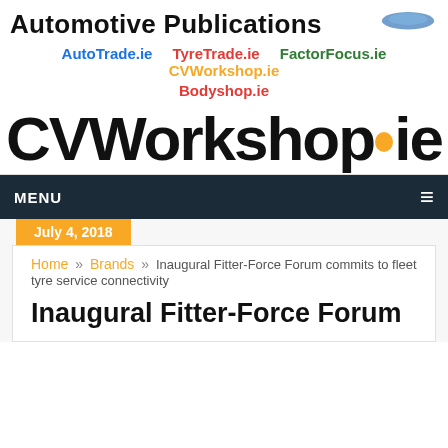Automotive Publications
AutoTrade.ie   TyreTrade.ie   FactorFocus.ie   CVWorkshop.ie   Bodyshop.ie
[Figure (logo): CVWorkshop.ie logo in large bold black text with an orange dot replacing the period]
MENU
July 4, 2018
Home » Brands » Inaugural Fitter-Force Forum commits to fleet tyre service connectivity
Inaugural Fitter-Force Forum